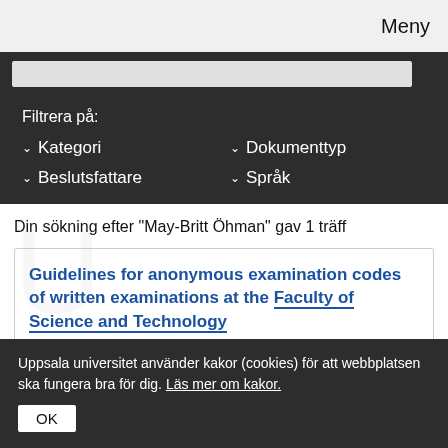Meny
Filtrera på:
Kategori
Dokumenttyp
Beslutsfattare
Språk
Din sökning efter "May-Britt Öhman" gav 1 träff
Guidelines for anonymous examination codes of written examinations at the Faculty of Science and Technology
Uppsala universitet använder kakor (cookies) för att webbplatsen ska fungera bra för dig. Läs mer om kakor.